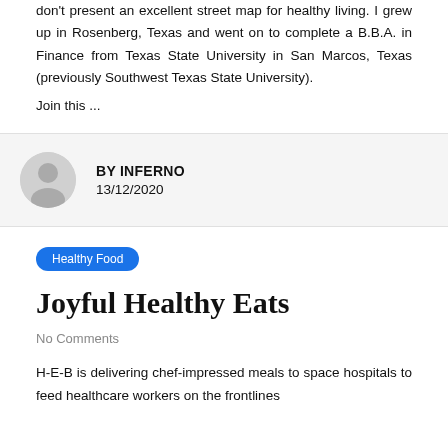don't present an excellent street map for healthy living. I grew up in Rosenberg, Texas and went on to complete a B.B.A. in Finance from Texas State University in San Marcos, Texas (previously Southwest Texas State University).
Join this ...
BY INFERNO
13/12/2020
Healthy Food
Joyful Healthy Eats
No Comments
H-E-B is delivering chef-impressed meals to space hospitals to feed healthcare workers on the frontlines